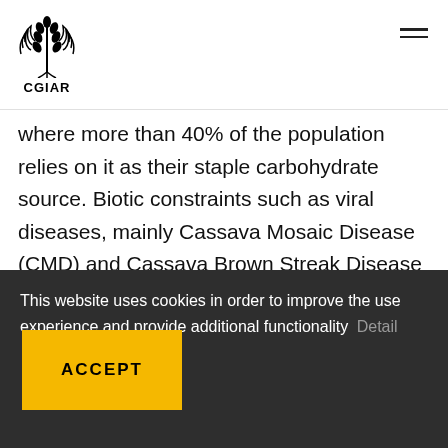CGIAR
where more than 40% of the population relies on it as their staple carbohydrate source. Biotic constraints such as viral diseases, mainly Cassava Mosaic Disease (CMD) and Cassava Brown Streak Disease (CBSD), and arthropod pests, particularly Cassava Green Mite (CGM), are major constraints
This website uses cookies in order to improve the use experience and provide additional functionality   Detail
ACCEPT